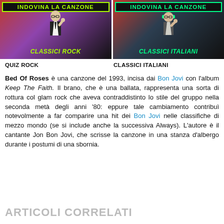[Figure (illustration): Left promo image: 'Indovina La Canzone - Classici Rock' with man in suit and guitar background, yellow-green text on black]
[Figure (illustration): Right promo image: 'Indovina La Canzone - Classici Italiani' with man in headphones and guitar, green text on black]
QUIZ ROCK
CLASSICI ITALIANI
Bed Of Roses è una canzone del 1993, incisa dai Bon Jovi con l'album Keep The Faith. Il brano, che è una ballata, rappresenta una sorta di rottura col glam rock che aveva contraddistinto lo stile del gruppo nella seconda metà degli anni '80: eppure tale cambiamento contribuì notevolmente a far comparire una hit dei Bon Jovi nelle classifiche di mezzo mondo (se si include anche la successiva Always). L'autore è il cantante Jon Bon Jovi, che scrisse la canzone in una stanza d'albergo durante i postumi di una sbornia.
ARTICOLI CORRELATI